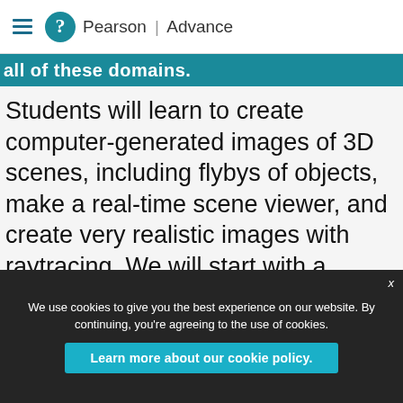Pearson | Advance
all of these domains.
Students will learn to create computer-generated images of 3D scenes, including flybys of objects, make a real-time scene viewer, and create very realistic images with raytracing. We will start with a simple example of viewing a teapot from anywhere in space, understanding the basic mathematics of virtual camera
We use cookies to give you the best experience on our website. By continuing, you're agreeing to the use of cookies.
Learn more about our cookie policy.